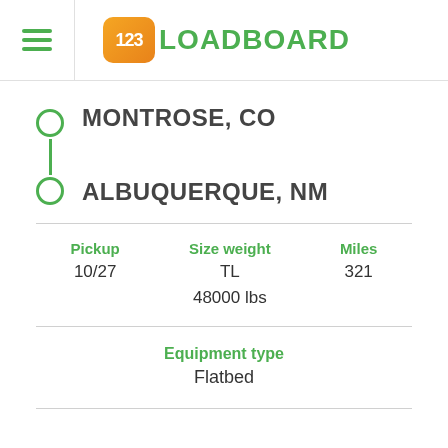[Figure (logo): 123Loadboard logo with orange rounded square badge containing '123' and green text 'LOADBOARD']
MONTROSE, CO
ALBUQUERQUE, NM
| Pickup | Size weight | Miles |
| --- | --- | --- |
| 10/27 | TL
48000 lbs | 321 |
Equipment type
Flatbed